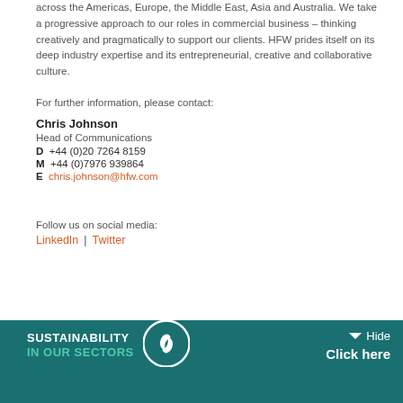across the Americas, Europe, the Middle East, Asia and Australia. We take a progressive approach to our roles in commercial business – thinking creatively and pragmatically to support our clients. HFW prides itself on its deep industry expertise and its entrepreneurial, creative and collaborative culture.
For further information, please contact:
Chris Johnson
Head of Communications
D  +44 (0)20 7264 8159
M  +44 (0)7976 939864
E  chris.johnson@hfw.com
Follow us on social media:
LinkedIn  |  Twitter
[Figure (infographic): Share this page bar with Twitter, LinkedIn, and email icons]
[Figure (logo): Sustainability in our sectors logo with teal background, white globe icon and text]